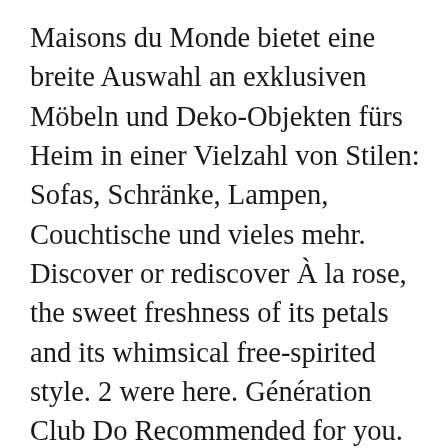Maisons du Monde bietet eine breite Auswahl an exklusiven Möbeln und Deko-Objekten fürs Heim in einer Vielzahl von Stilen: Sofas, Schränke, Lampen, Couchtische und vieles mehr. Discover or rediscover À la rose, the sweet freshness of its petals and its whimsical free-spirited style. 2 were here. Génération Club Do Recommended for you. Nominations . If you cheated and looked at the title, you already know the answer is structure. Leben. Liliana & Flávia Secret Story 5 – Fãs, n. Gefällt 2.260 Mal. 5.54. L'Homme À la rose is the incarnation of a rose for men. The fragrances I create and the names I give them provide the punctuation for every story I wish to tell. Solve